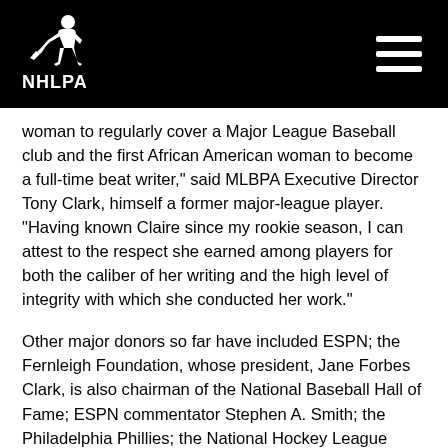NHLPA
woman to regularly cover a Major League Baseball club and the first African American woman to become a full-time beat writer," said MLBPA Executive Director Tony Clark, himself a former major-league player. "Having known Claire since my rookie season, I can attest to the respect she earned among players for both the caliber of her writing and the high level of integrity with which she conducted her work."
Other major donors so far have included ESPN; the Fernleigh Foundation, whose president, Jane Forbes Clark, is also chairman of the National Baseball Hall of Fame; ESPN commentator Stephen A. Smith; the Philadelphia Phillies; the National Hockey League Players’ Association; and a variety of professional athletes, coaches and executives, including Houston Astros Manager Dusty Baker